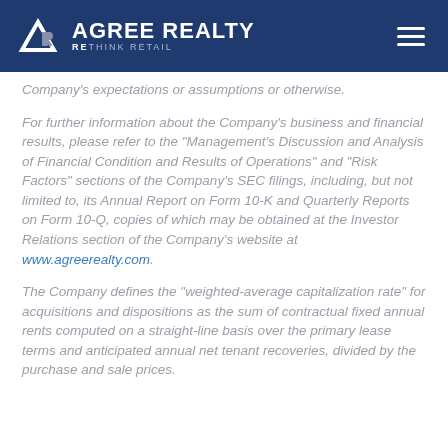AGREE REALTY RETHINK RETAIL
Company's expectations or assumptions or otherwise.
For further information about the Company's business and financial results, please refer to the "Management's Discussion and Analysis of Financial Condition and Results of Operations" and "Risk Factors" sections of the Company's SEC filings, including, but not limited to, its Annual Report on Form 10-K and Quarterly Reports on Form 10-Q, copies of which may be obtained at the Investor Relations section of the Company's website at www.agreerealty.com.
The Company defines the "weighted-average capitalization rate" for acquisitions and dispositions as the sum of contractual fixed annual rents computed on a straight-line basis over the primary lease terms and anticipated annual net tenant recoveries, divided by the purchase and sale prices.